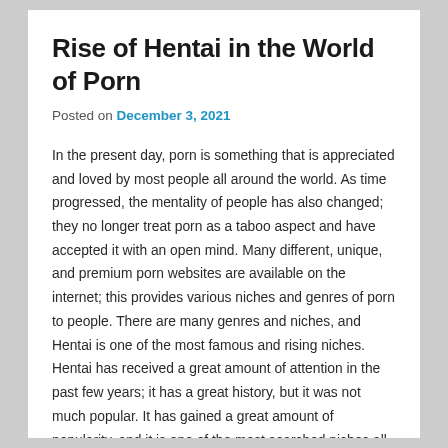Rise of Hentai in the World of Porn
Posted on December 3, 2021
In the present day, porn is something that is appreciated and loved by most people all around the world. As time progressed, the mentality of people has also changed; they no longer treat porn as a taboo aspect and have accepted it with an open mind. Many different, unique, and premium porn websites are available on the internet; this provides various niches and genres of porn to people. There are many genres and niches, and Hentai is one of the most famous and rising niches. Hentai has received a great amount of attention in the past few years; it has a great history, but it was not much popular. It has gained a great amount of popularity, and it is one of the most searched niches all around the world.
Introduction to Hentai